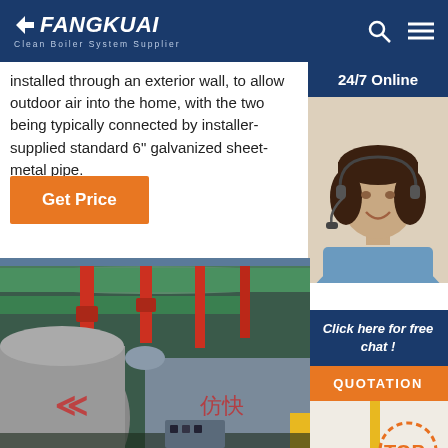[Figure (logo): Fangkuai Clean Boiler System Supplier logo with search and menu icons on dark blue header]
installed through an exterior wall, to allow outdoor air into the home, with the two being typically connected by installer-supplied standard 6" galvanized sheet-metal pipe.
[Figure (other): Orange 'Get Price' button]
[Figure (other): 24/7 Online badge with customer service agent photo]
[Figure (other): Click here for free chat! with QUOTATION button and TOP badge]
[Figure (photo): Industrial boiler equipment photo showing green insulated pipes, red piping, and large cylindrical boiler with Chinese characters]